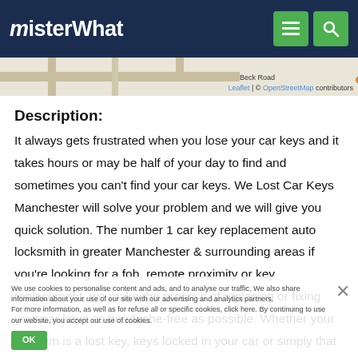MisterWhat
[Figure (map): Street map showing a road area near Manchester with Leaflet / OpenStreetMap attribution]
Description:
It always gets frustrated when you lose your car keys and it takes hours or may be half of your day to find and sometimes you can't find your car keys. We Lost Car Keys Manchester will solve your problem and we will give you quick solution. The number 1 car key replacement auto locksmith in greater Manchester & surrounding areas if you're looking for a fob, remote proximity or key replacement, we make the process of replacing or fixing your car keys as headache-free as possible. Whether your problem is a lost key, keys locked in your car or simply that your key is broken or is stuck in the ignition – our locksmiths have the solution to guarantee to
We use cookies to personalise content and ads, and to analyse our traffic. We also share information about your use of our site with our advertising and analytics partners. For more information, as well as for refuse all or specific cookies, click here. By continuing to use our website, you accept our use of cookies.